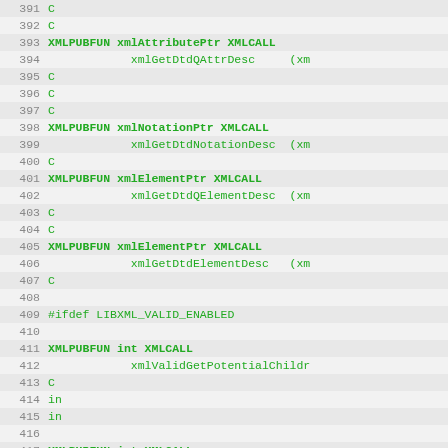[Figure (screenshot): Source code listing showing lines 391-422 of a C header file (libxml), with line numbers on the left and green monospace code on alternating gray/white striped background. Functions include xmlGetDtdQAttrDesc, xmlGetDtdNotationDesc, xmlGetDtdQElementDesc, xmlGetDtdElementDesc, LIBXML_VALID_ENABLED block with xmlValidGetPotentialChildren and xmlValidGetValidElements, and XMLPUBFUN int XMLCALL declarations.]